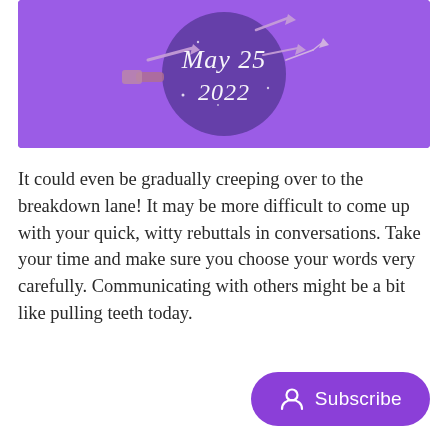[Figure (illustration): Purple banner with illustrated arrows/wands and cursive text reading 'May 25 2022' on a circular dark purple background, overall background is bright purple]
It could even be gradually creeping over to the breakdown lane! It may be more difficult to come up with your quick, witty rebuttals in conversations. Take your time and make sure you choose your words very carefully. Communicating with others might be a bit like pulling teeth today.